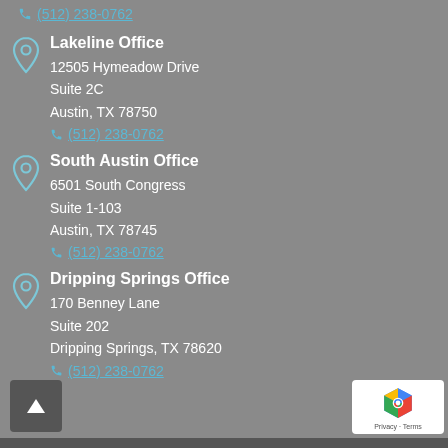(512) 238-0762
Lakeline Office
12505 Hymeadow Drive
Suite 2C
Austin, TX 78750
(512) 238-0762
South Austin Office
6501 South Congress
Suite 1-103
Austin, TX 78745
(512) 238-0762
Dripping Springs Office
170 Benney Lane
Suite 202
Dripping Springs, TX 78620
(512) 238-0762